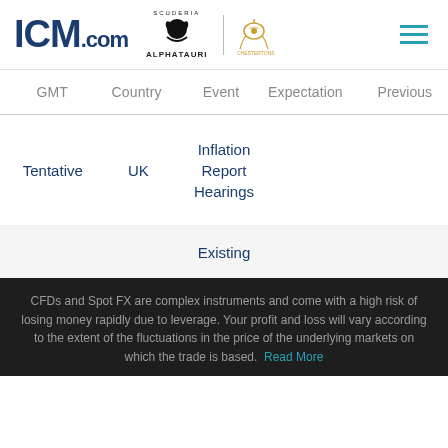[Figure (logo): ICM.com logo with AlphaTauri and Chestertons Polo partner logos, and a hamburger menu icon]
| GMT | Country | Event | Expectation | Previous |
| --- | --- | --- | --- | --- |
| Tentative | UK | Inflation Report Hearings |  |  |
Existing
CFDs and Spot FX are complex instruments and come with a high risk of losing money rapidly due to leverage. Your profit and loss will vary according to the extent of the fluctuations in the price of the underlying markets on which the trade is based. Read More